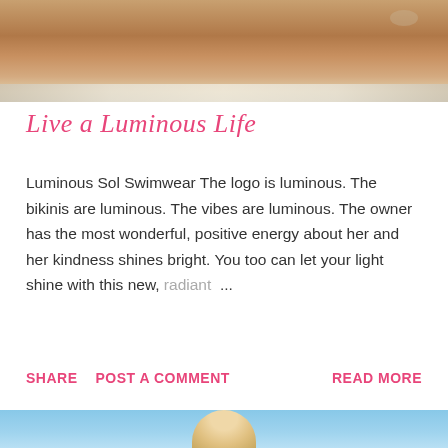[Figure (photo): Photo of a person in a pink bikini sitting on a beach with water and sand visible]
Live a Luminous Life
Luminous Sol Swimwear The logo is luminous. The bikinis are luminous. The vibes are luminous. The owner has the most wonderful, positive energy about her and her kindness shines bright. You too can let your light shine with this new, radiant ...
SHARE  POST A COMMENT  READ MORE
[Figure (photo): Photo of a person at a beach with blue sky and water in background, partially visible at bottom of page]